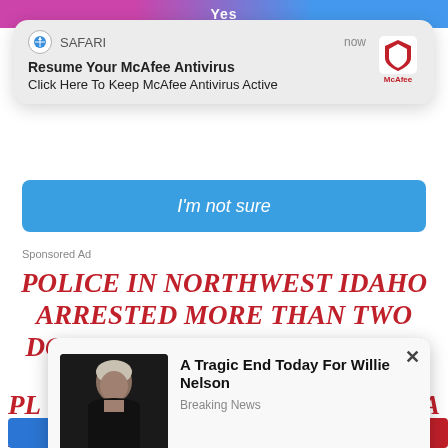[Figure (screenshot): Top bar with pink to blue gradient and partial white text 'Yes']
[Figure (screenshot): Safari browser push notification popup: 'Resume Your McAfee Antivirus / Click Here To Keep McAfee Antivirus Active' with McAfee logo, timestamp 'now']
[Figure (screenshot): Blue rounded button with italic white text 'I'm not sure']
Sponsored Ad
POLICE IN NORTHWEST IDAHO ARRESTED MORE THAN TWO DOZEN MEMBERS OF A WHITE NATIONALIST GROUP ON SATURDAY
[Figure (screenshot): Pop-up advertisement overlay with close X button, photo of elderly man (Willie Nelson), headline 'A Tragic End Today For Willie Nelson', subtext 'Breaking News']